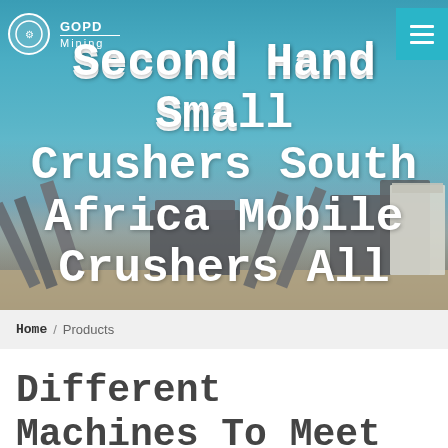[Figure (photo): Aerial/ground-level photo of an industrial mining crusher facility with conveyor belts and machinery against a clear sky background]
Second Hand Small Crushers South Africa Mobile Crushers All
Home / Products
Different Machines To Meet All Need